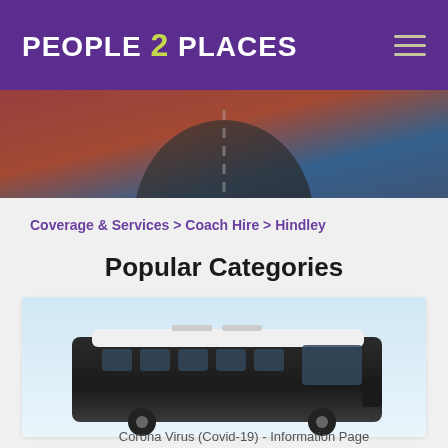PEOPLE 2 PLACES
[Figure (photo): Hero banner showing a road from aerial/blur perspective with red and blue color tones]
Coverage & Services > Coach Hire > Hindley
Popular Categories
[Figure (photo): Front/top view of a modern coach/bus against a light blue sky background]
Corona Virus (Covid-19) - Information Page